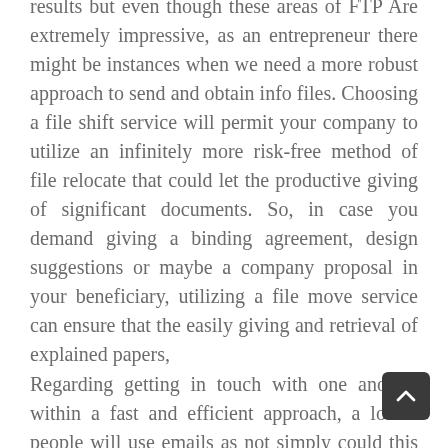results but even though these areas of FTP Are extremely impressive, as an entrepreneur there might be instances when we need a more robust approach to send and obtain info files. Choosing a file shift service will permit your company to utilize an infinitely more risk-free method of file relocate that could let the productive giving of significant documents. So, in case you demand giving a binding agreement, design suggestions or maybe a company proposal in your beneficiary, utilizing a file move service can ensure that the easily giving and retrieval of explained papers,
Regarding getting in touch with one another within a fast and efficient approach, a lot of people will use emails as not simply could this be considered a swift means of connection, it really is fundamentally totally free also. Working with an email substitution can help to...